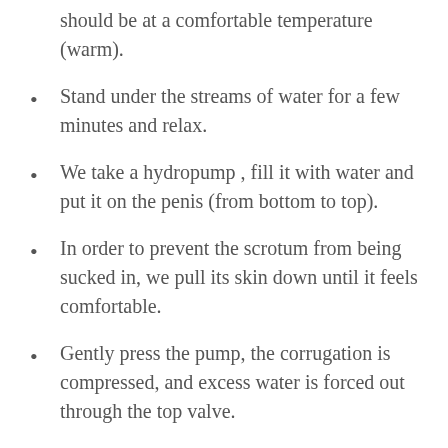should be at a comfortable temperature (warm).
Stand under the streams of water for a few minutes and relax.
We take a hydropump , fill it with water and put it on the penis (from bottom to top).
In order to prevent the scrotum from being sucked in, we pull its skin down until it feels comfortable.
Gently press the pump, the corrugation is compressed, and excess water is forced out through the top valve.
Hold in a comfortable position for 3-5